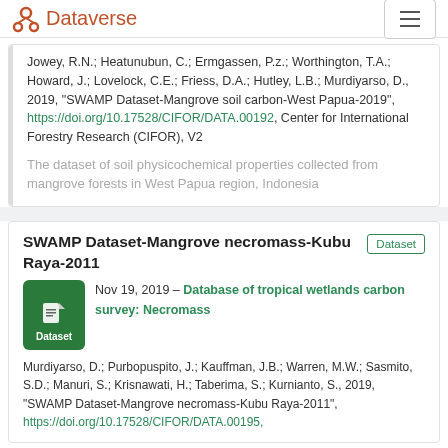Dataverse
Jowey, R.N.; Heatunubun, C.; Ermgassen, P.z.; Worthington, T.A.; Howard, J.; Lovelock, C.E.; Friess, D.A.; Hutley, L.B.; Murdiyarso, D., 2019, "SWAMP Dataset-Mangrove soil carbon-West Papua-2019", https://doi.org/10.17528/CIFOR/DATA.00192, Center for International Forestry Research (CIFOR), V2
The dataset of soil physicochemical properties collected from mangrove forests in West Papua region, Indonesia
SWAMP Dataset-Mangrove necromass-Kubu Raya-2011
Nov 19, 2019 – Database of tropical wetlands carbon survey: Necromass
Murdiyarso, D.; Purbopuspito, J.; Kauffman, J.B.; Warren, M.W.; Sasmito, S.D.; Manuri, S.; Krisnawati, H.; Taberima, S.; Kurnianto, S., 2019, "SWAMP Dataset-Mangrove necromass-Kubu Raya-2011", https://doi.org/10.17528/CIFOR/DATA.00195,